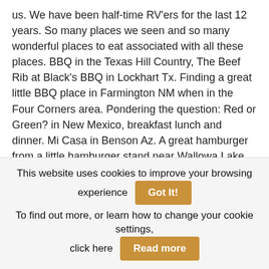us. We have been half-time RV'ers for the last 12 years. So many places we seen and so many wonderful places to eat associated with all these places. BBQ in the Texas Hill Country, The Beef Rib at Black's BBQ in Lockhart Tx. Finding a great little BBQ place in Farmington NM when in the Four Corners area. Pondering the question: Red or Green? in New Mexico, breakfast lunch and dinner. Mi Casa in Benson Az. A great hamburger from a little hamburger stand near Wallowa Lake Or. Our favorite place in the Palm Springs area. And the list and the thoughts go on. Each place ties into memories, food leads to the place and the adventure, the place or the
This website uses cookies to improve your browsing experience   Got It!   To find out more, or learn how to change your cookie settings, click here   Read more